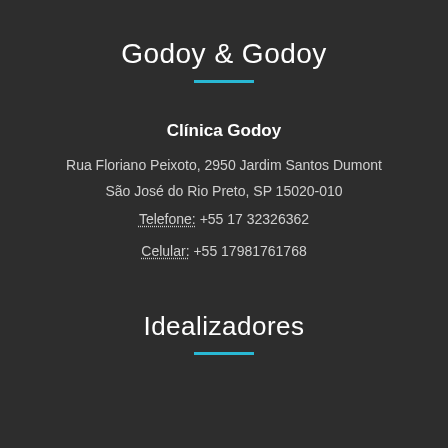Godoy & Godoy
Clínica Godoy
Rua Floriano Peixoto, 2950 Jardim Santos Dumont
São José do Rio Preto, SP 15020-010
Telefone: +55 17 32326362
Celular: +55 17981761768
Idealizadores